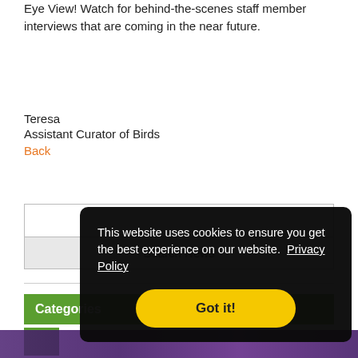Eye View! Watch for behind-the-scenes staff member interviews that are coming in the near future.
Teresa
Assistant Curator of Birds
Back
Search News
Categories
This website uses cookies to ensure you get the best experience on our website.  Privacy Policy
Got it!